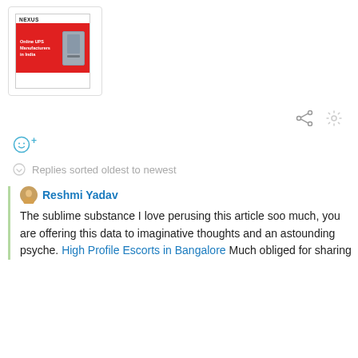[Figure (screenshot): Product thumbnail showing a NEXUS branded Online UPS Manufacturers in India with a grey UPS device on a red background]
[Figure (other): Toolbar icons: share (network/share icon) and settings (gear icon)]
[Figure (other): Emoji reaction button: smiley face with a plus sign, in blue]
Replies sorted oldest to newest
Reshmi Yadav
The sublime substance I love perusing this article soo much, you are offering this data to imaginative thoughts and an astounding psyche. High Profile Escorts in Bangalore Much obliged for sharing